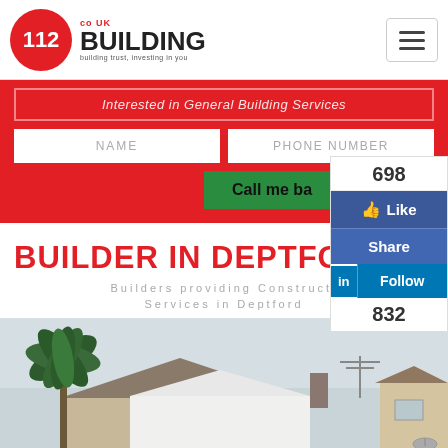[Figure (screenshot): Website header with 112 UK Building logo (red circle with white 112, bold BUILDING text), hamburger menu icon top right]
Interested in General Building Services
NAME
PHONE NUMBER
Call me ba[ck]
698
Like
Share
Follow
832
BUILDER IN DEPTFORD
Builders providing Construction Services in Deptford
[Figure (photo): Photograph of UK residential houses with rooftop, chimney, TV antenna, and palm tree against overcast sky]